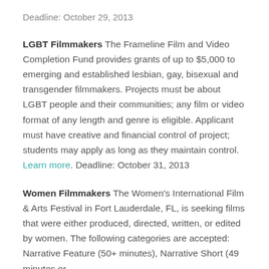Deadline: October 29, 2013
LGBT Filmmakers The Frameline Film and Video Completion Fund provides grants of up to $5,000 to emerging and established lesbian, gay, bisexual and transgender filmmakers. Projects must be about LGBT people and their communities; any film or video format of any length and genre is eligible. Applicant must have creative and financial control of project; students may apply as long as they maintain control. Learn more. Deadline: October 31, 2013
Women Filmmakers The Women's International Film & Arts Festival in Fort Lauderdale, FL, is seeking films that were either produced, directed, written, or edited by women. The following categories are accepted: Narrative Feature (50+ minutes), Narrative Short (49 minutes or